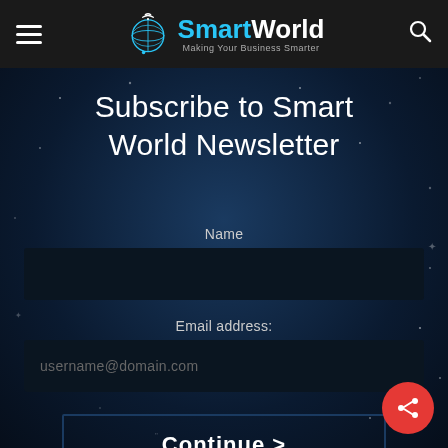SmartWorld — Making Your Business Smarter
Subscribe to Smart World Newsletter
Name
Email address:
username@domain.com
Continue >